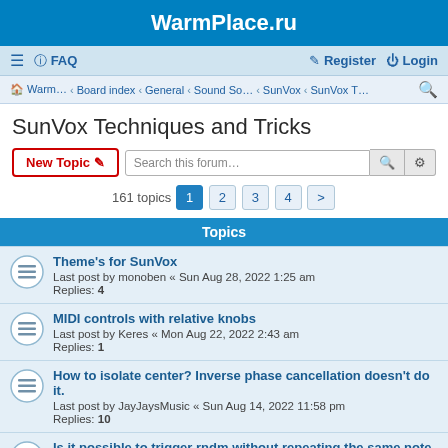WarmPlace.ru
≡  FAQ    Register  Login
Warm… · Board index · General · Sound So… · SunVox · SunVox T…
SunVox Techniques and Tricks
New Topic  Search this forum…
161 topics  1  2  3  4  >
Topics
Theme's for SunVox
Last post by monoben « Sun Aug 28, 2022 1:25 am
Replies: 4
MIDI controls with relative knobs
Last post by Keres « Mon Aug 22, 2022 2:43 am
Replies: 1
How to isolate center? Inverse phase cancellation doesn't do it.
Last post by JayJaysMusic « Sun Aug 14, 2022 11:58 pm
Replies: 10
Is it possible to trigger rndm without repeating the same note twice in a row?
Last post by offthecky « Thu Aug 11, 2022 1:26 am